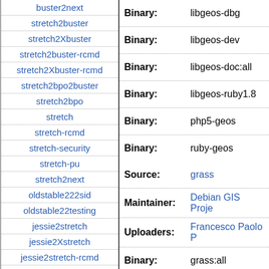buster2next
stretch2buster
stretch2Xbuster
stretch2buster-rcmd
stretch2Xbuster-rcmd
stretch2bpo2buster
stretch2bpo
stretch
stretch-rcmd
stretch-security
stretch-pu
stretch2next
oldstable222sid
oldstable22testing
jessie2stretch
jessie2Xstretch
jessie2stretch-rcmd
jessie2Xstretch-rcmd
| Field | Value |
| --- | --- |
| Binary: | libgeos-dbg |
| Binary: | libgeos-dev |
| Binary: | libgeos-doc:all |
| Binary: | libgeos-ruby1.8 |
| Binary: | php5-geos |
| Binary: | ruby-geos |
| Source: | grass |
| Maintainer: | Debian GIS Proje... |
| Uploaders: | Francesco Paolo ... |
| Binary: | grass:all |
| Binary: | grass-core |